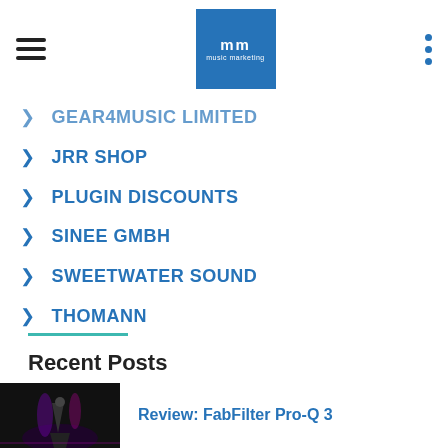mm music marketing
GEAR4MUSIC LIMITED
JRR SHOP
PLUGIN DISCOUNTS
SINEE GMBH
SWEETWATER SOUND
THOMANN
Recent Posts
Review: FabFilter Pro-Q 3
[Figure (photo): Thumbnail image for Review: FabFilter Pro-Q 3 post, dark background with purple/magenta accent lights and a person silhouette]